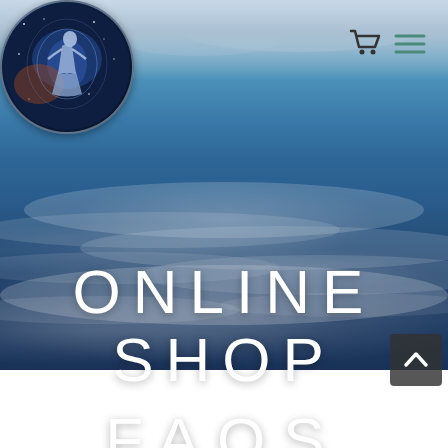[Figure (photo): Hero banner section showing ocean waves on a beach with blue water and white foam. The background transitions from a cloudy sky at the top to dark sand at the bottom.]
[Figure (logo): Circular logo featuring a woman figure standing in a cosmic/galaxy scene with blue and purple tones]
[Figure (infographic): Shopping cart icon in dark color]
[Figure (infographic): Hamburger menu icon in teal/green color]
ONLINE SHOP
FAQS
[Figure (infographic): Scroll-to-top button with upward chevron arrow on dark background in bottom right corner]